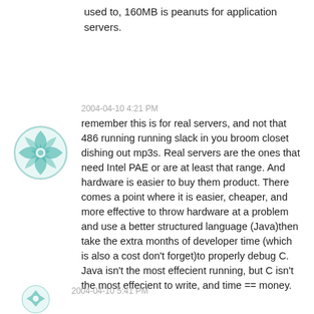used to, 160MB is peanuts for application servers.
2004-04-10 4:21 PM
remember this is for real servers, and not that 486 running running slack in you broom closet dishing out mp3s. Real servers are the ones that need Intel PAE or are at least that range. And hardware is easier to buy them product. There comes a point where it is easier, cheaper, and more effective to throw hardware at a problem and use a better structured language (Java)then take the extra months of developer time (which is also a cost don't forget)to properly debug C. Java isn't the most effecient running, but C isn't the most effecient to write, and time == money.
2004-04-10 5:41 PM